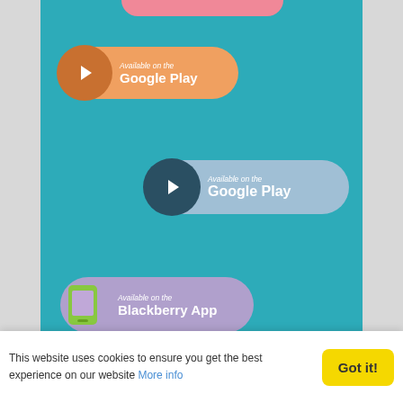[Figure (screenshot): App store download buttons on teal background. Top partial pink button cropped at top. Orange Google Play button (left), Blue Google Play button (right), Purple Blackberry App button (left), Pink Blackberry App button (right), Green Windows Mobile Store button (left), Purple Windows Mobile Store button (right).]
Available on the Google Play
Available on the Google Play
Available on the Blackberry App
Available on the Blackberry App
Available on the Windows Mobile Store
Available on the Windows Mobile Store
This website uses cookies to ensure you get the best experience on our website More info
Got it!